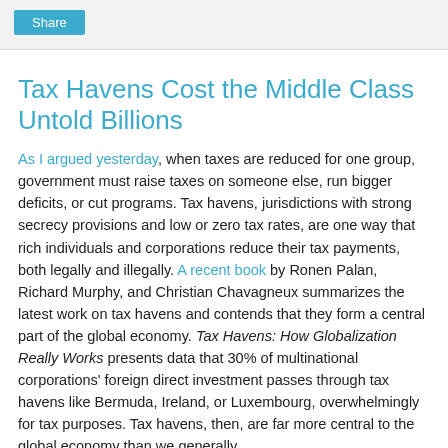Share
Tax Havens Cost the Middle Class Untold Billions
As I argued yesterday, when taxes are reduced for one group, government must raise taxes on someone else, run bigger deficits, or cut programs. Tax havens, jurisdictions with strong secrecy provisions and low or zero tax rates, are one way that rich individuals and corporations reduce their tax payments, both legally and illegally. A recent book by Ronen Palan, Richard Murphy, and Christian Chavagneux summarizes the latest work on tax havens and contends that they form a central part of the global economy. Tax Havens: How Globalization Really Works presents data that 30% of multinational corporations' foreign direct investment passes through tax havens like Bermuda, Ireland, or Luxembourg, overwhelmingly for tax purposes. Tax havens, then, are far more central to the global economy than we generally